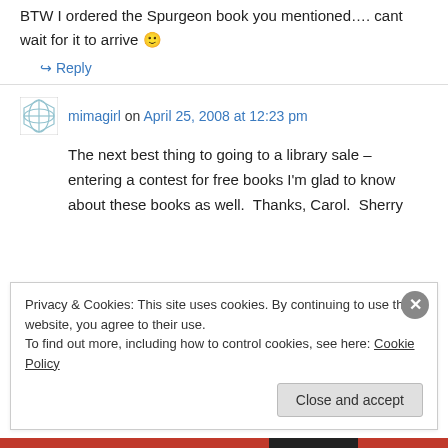BTW I ordered the Spurgeon book you mentioned…. cant wait for it to arrive 🙂
↪ Reply
mimagirl on April 25, 2008 at 12:23 pm
The next best thing to going to a library sale – entering a contest for free books I'm glad to know about these books as well.  Thanks, Carol.  Sherry
Privacy & Cookies: This site uses cookies. By continuing to use this website, you agree to their use.
To find out more, including how to control cookies, see here: Cookie Policy
Close and accept